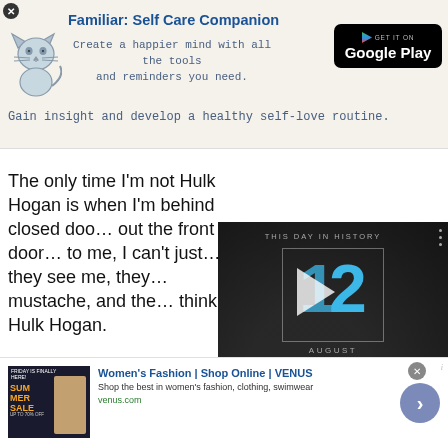[Figure (screenshot): Advertisement banner for 'Familiar: Self Care Companion' app with cat illustration and Google Play button]
The only time I'm not Hulk Hogan is when I'm behind closed doo... out the front door... to me, I can't just... they see me, they... mustache, and the... think Hulk Hogan.
[Figure (screenshot): Video overlay showing 'This Day in History' with date 12 August, play button, mute icon and progress bar]
[Figure (screenshot): Bottom advertisement for Women's Fashion Shop Online VENUS with Summer Sale image, description and arrow button]